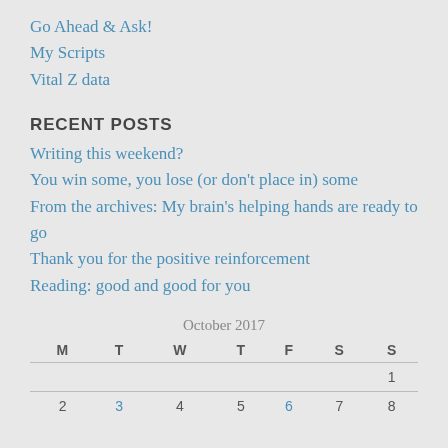Go Ahead & Ask!
My Scripts
Vital Z data
RECENT POSTS
Writing this weekend?
You win some, you lose (or don't place in) some
From the archives: My brain's helping hands are ready to go
Thank you for the positive reinforcement
Reading: good and good for you
October 2017
| M | T | W | T | F | S | S |
| --- | --- | --- | --- | --- | --- | --- |
|  |  |  |  |  |  | 1 |
| 2 | 3 | 4 | 5 | 6 | 7 | 8 |